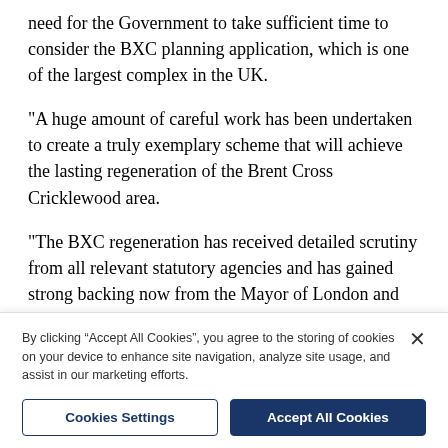need for the Government to take sufficient time to consider the BXC planning application, which is one of the largest complex in the UK.
"A huge amount of careful work has been undertaken to create a truly exemplary scheme that will achieve the lasting regeneration of the Brent Cross Cricklewood area.
"The BXC regeneration has received detailed scrutiny from all relevant statutory agencies and has gained strong backing now from the Mayor of London and cross-party support from Barnet's Planning Committee.
"We await the Government's decision in due course
By clicking “Accept All Cookies”, you agree to the storing of cookies on your device to enhance site navigation, analyze site usage, and assist in our marketing efforts.
Cookies Settings | Accept All Cookies